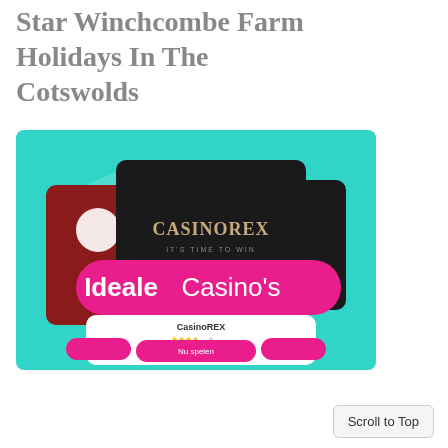Star Winchcombe Farm Holidays In The Cotswolds
[Figure (illustration): Advertisement image for IdealeCasino's featuring casino cards including a CasinoREX branded black card, with a pink banner overlay reading 'IdealeCasinos', on a teal/cyan background. Below shows a CasinoREX listing with star rating and €1000 + 150 FS bonus offer with a pink button.]
Scroll to Top